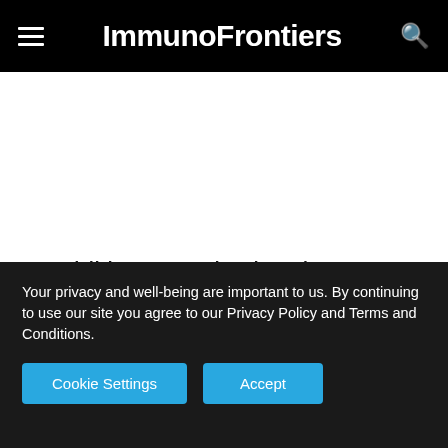ImmunoFrontiers
In addition to reviewing these rankings we encourage you to visit the website of each
Your privacy and well-being are important to us. By continuing to use our site you agree to our Privacy Policy and Terms and Conditions.
Cookie Settings | Accept